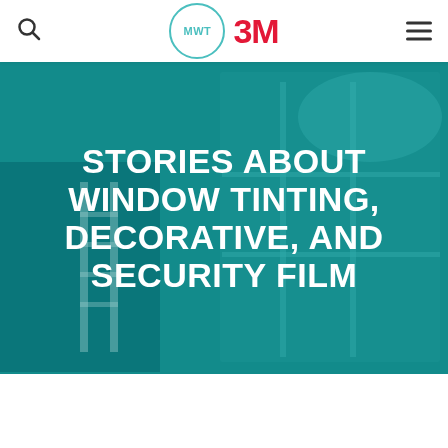MWT 3M — navigation header with search and menu icons
[Figure (photo): Hero image of a room with large windows being tinted, with a teal/blue-green color overlay. A person is applying window film to large arched windows. The scene shows an interior with a ladder and window film installation in progress.]
STORIES ABOUT WINDOW TINTING, DECORATIVE, AND SECURITY FILM